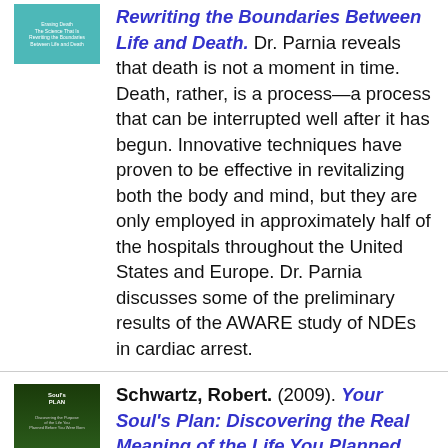[Figure (illustration): Book cover: teal/turquoise colored book cover with white text]
Rewriting the Boundaries Between Life and Death. Dr. Parnia reveals that death is not a moment in time. Death, rather, is a process—a process that can be interrupted well after it has begun. Innovative techniques have proven to be effective in revitalizing both the body and mind, but they are only employed in approximately half of the hospitals throughout the United States and Europe. Dr. Parnia discusses some of the preliminary results of the AWARE study of NDEs in cardiac arrest.
[Figure (illustration): Book cover: Your Soul's Plan by Robert Schwartz, dark green cover with pink lotus flower]
Schwartz, Robert. (2009). Your Soul's Plan: Discovering the Real Meaning of the Life You Planned Before You Were Born. Schwartz explores the premise that we are all eternal